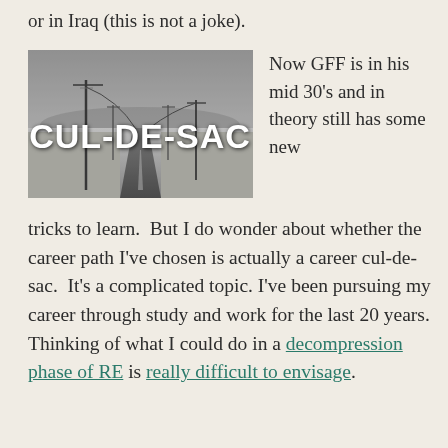or in Iraq (this is not a joke).
[Figure (photo): Black and white photo of a long straight road disappearing into the horizon, with telephone poles on both sides. Bold white text overlay reads 'CUL-DE-SAC'.]
Now GFF is in his mid 30’s and in theory still has some new tricks to learn.  But I do wonder about whether the career path I’ve chosen is actually a career cul-de-sac.  It’s a complicated topic.  I’ve been pursuing my career through study and work for the last 20 years.  Thinking of what I could do in a decompression phase of RE is really difficult to envisage.